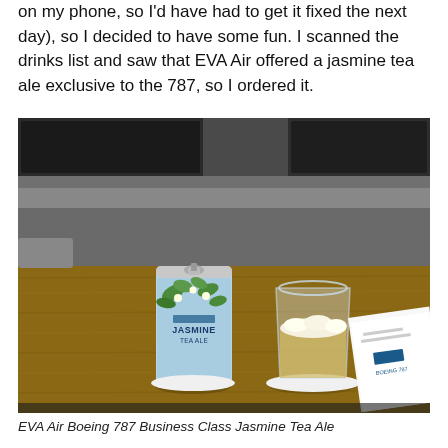on my phone, so I'd have had to get it fixed the next day), so I decided to have some fun. I scanned the drinks list and saw that EVA Air offered a jasmine tea ale exclusive to the 787, so I ordered it.
[Figure (photo): A can of EVA Air Jasmine Tea Ale with a light blue label showing jasmine flowers, next to a stemless glass filled with pale golden beer with a foamy head, both resting on white coasters on a wooden tray table in an aircraft business class seat. A white card/menu is partially visible on the right.]
EVA Air Boeing 787 Business Class Jasmine Tea Ale